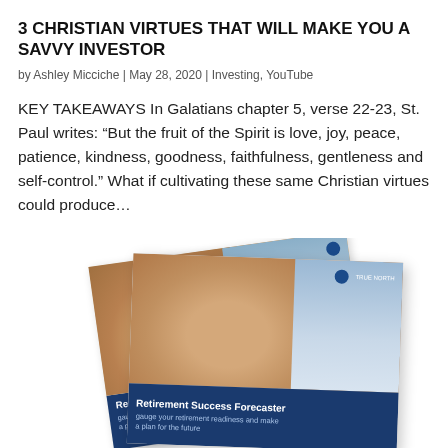3 CHRISTIAN VIRTUES THAT WILL MAKE YOU A SAVVY INVESTOR
by Ashley Micciche | May 28, 2020 | Investing, YouTube
KEY TAKEAWAYS In Galatians chapter 5, verse 22-23, St. Paul writes: “But the fruit of the Spirit is love, joy, peace, patience, kindness, goodness, faithfulness, gentleness and self-control.” What if cultivating these same Christian virtues could produce…
[Figure (photo): A marketing brochure titled 'Retirement Success Forecaster' showing a smiling couple, with a dark navy blue bottom panel. The brochure appears fanned with two overlapping copies, one rotated slightly.]